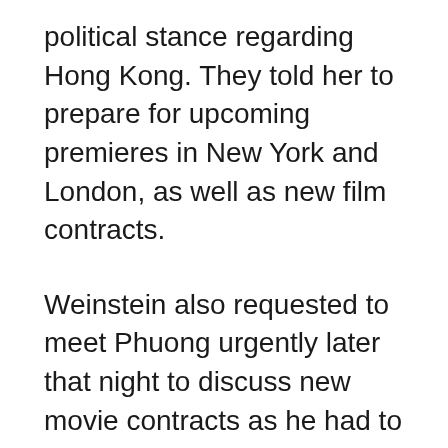political stance regarding Hong Kong. They told her to prepare for upcoming premieres in New York and London, as well as new film contracts.
Weinstein also requested to meet Phuong urgently later that night to discuss new movie contracts as he had to fly to London for business meetings the next day.
“I sat there waiting [for him] alone with a heavy heart because I didn’t know what the new movie would be like,” Phuong wrote